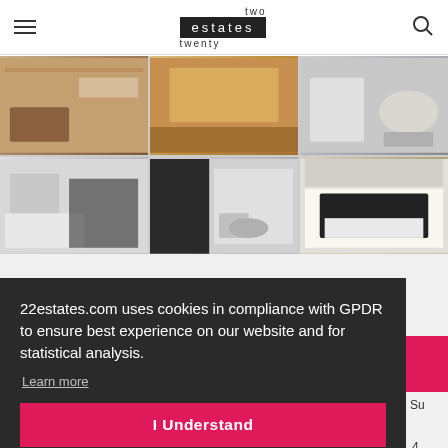two estates twenty
[Figure (photo): Grid of 6 apartment interior photos — bedroom, kitchen, bathroom with washer, bathroom with tub, bathroom vanity/cabinet, and bedroom with double bed]
22estates.com uses cookies in compliance with GPDR to ensure best experience on our website and for statistical analysis.
Learn more
I Understand